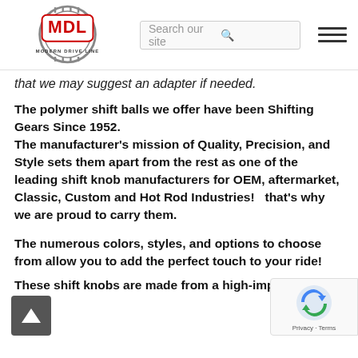[Figure (logo): MDL Modern Drive Line logo with circular gear graphic and red MDL lettering]
that we may suggest an adapter if needed.
The polymer shift balls we offer have been Shifting Gears Since 1952.
The manufacturer's mission of Quality, Precision, and Style sets them apart from the rest as one of the leading shift knob manufacturers for OEM, aftermarket, Classic, Custom and Hot Rod Industries!   that's why we are proud to carry them.
The numerous colors, styles, and options to choose from allow you to add the perfect touch to your ride!
These shift knobs are made from a high-impact